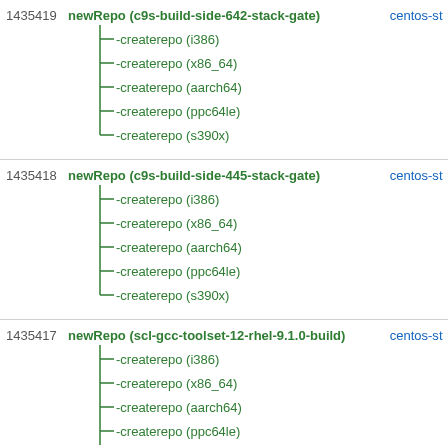1435419 newRepo (c9s-build-side-642-stack-gate) centos-s... createrepo (i386) createrepo (x86_64) createrepo (aarch64) createrepo (ppc64le) createrepo (s390x)
1435418 newRepo (c9s-build-side-445-stack-gate) centos-s... createrepo (i386) createrepo (x86_64) createrepo (aarch64) createrepo (ppc64le) createrepo (s390x)
1435417 newRepo (scl-gcc-toolset-12-rhel-9.1.0-build) centos-s... createrepo (i386) createrepo (x86_64) createrepo (aarch64) createrepo (ppc64le)